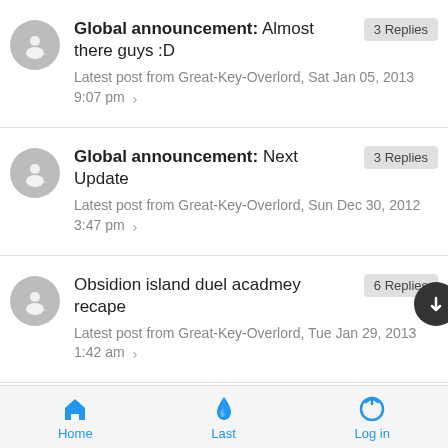Global announcement: Almost there guys :D — 3 Replies — Latest post from Great-Key-Overlord, Sat Jan 05, 2013 9:07 pm
Global announcement: Next Update — 3 Replies — Latest post from Great-Key-Overlord, Sun Dec 30, 2012 3:47 pm
Obsidion island duel acadmey recape — 6 Replies — Latest post from Great-Key-Overlord, Tue Jan 29, 2013 1:42 am
New charecter creation — 39 Replies — Latest post from Great-Key-Overlord, Tue Jan 29, 2013
Home | Last | Log in